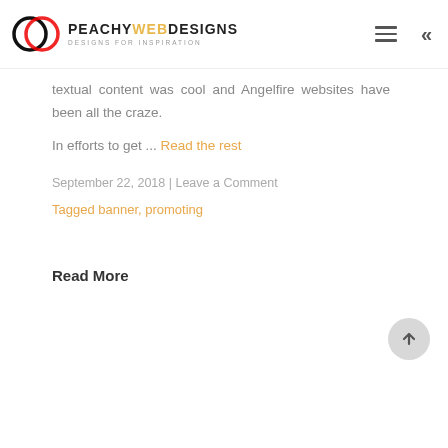PEACHY WEB DESIGNS — DESIGNS FOR INSPIRATION
textual content was cool and Angelfire websites have been all the craze.
In efforts to get ... Read the rest
September 22, 2018 | Leave a Comment
Tagged banner, promoting
Read More